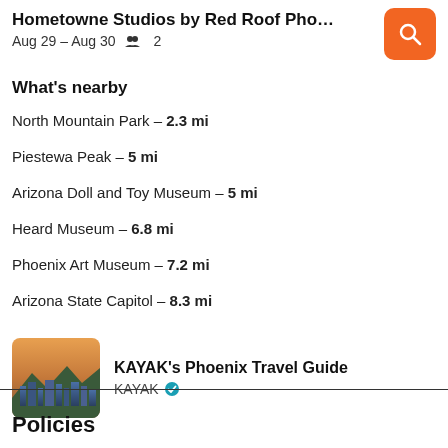Hometowne Studios by Red Roof Phoenix - ... Aug 29 – Aug 30  2
What's nearby
North Mountain Park – 2.3 mi
Piestewa Peak – 5 mi
Arizona Doll and Toy Museum – 5 mi
Heard Museum – 6.8 mi
Phoenix Art Museum – 7.2 mi
Arizona State Capitol – 8.3 mi
[Figure (photo): Thumbnail photo of Phoenix cityscape for KAYAK's Phoenix Travel Guide]
KAYAK's Phoenix Travel Guide
KAYAK ✓
Policies